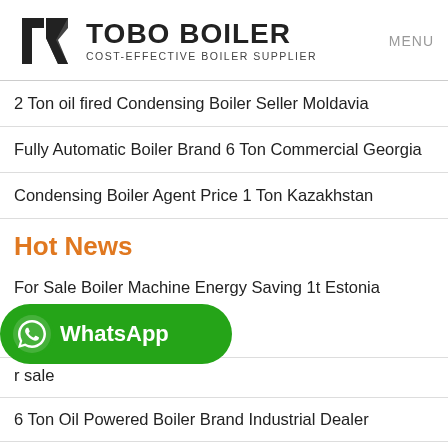TOBO BOILER – COST-EFFECTIVE BOILER SUPPLIER | MENU
2 Ton oil fired Condensing Boiler Seller Moldavia
Fully Automatic Boiler Brand 6 Ton Commercial Georgia
Condensing Boiler Agent Price 1 Ton Kazakhstan
Hot News
For Sale Boiler Machine Energy Saving 1t Estonia
[Figure (logo): WhatsApp button with green background and phone icon]
...r sale
6 Ton Oil Powered Boiler Brand Industrial Dealer